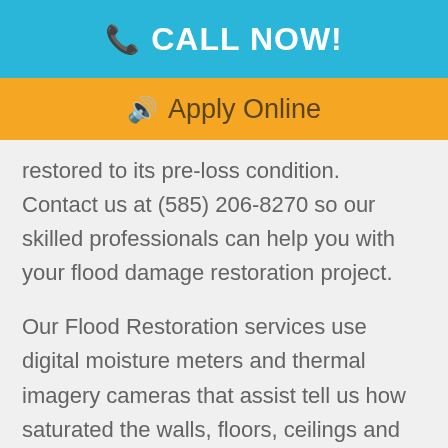📞 CALL NOW!
🔊 Apply Online
restored to its pre-loss condition.  Contact us at (585) 206-8270 so our skilled professionals can help you with your flood damage restoration project.
Our Flood Restoration services use digital moisture meters and thermal imagery cameras that assist tell us how saturated the walls, floors, ceilings and cabinets are and what areas are of most concern. By doing this, our pros determine what can or